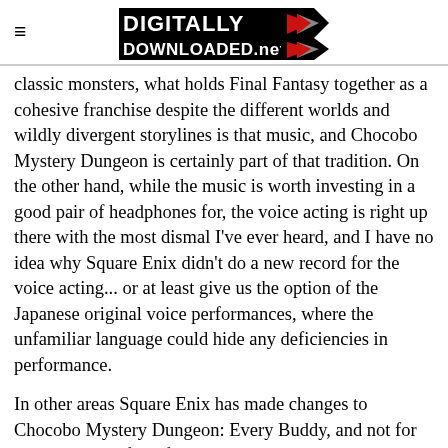DIGITALLY DOWNLOADED.net
classic monsters, what holds Final Fantasy together as a cohesive franchise despite the different worlds and wildly divergent storylines is that music, and Chocobo Mystery Dungeon is certainly part of that tradition. On the other hand, while the music is worth investing in a good pair of headphones for, the voice acting is right up there with the most dismal I've ever heard, and I have no idea why Square Enix didn't do a new record for the voice acting... or at least give us the option of the Japanese original voice performances, where the unfamiliar language could hide any deficiencies in performance.
In other areas Square Enix has made changes to Chocobo Mystery Dungeon: Every Buddy, and not for the best. One of my favourite things about the original game on the Wii was the ability to collect cards, and then
GO TO TOP